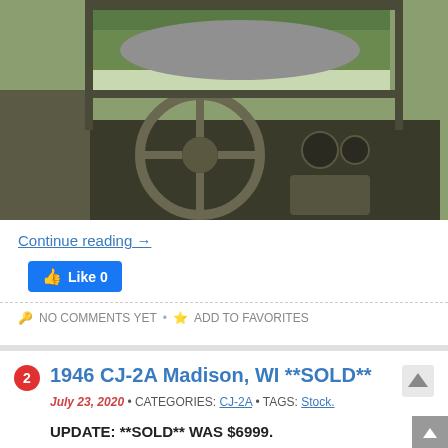[Figure (photo): Interior view of a vintage military Jeep showing steering wheel, dashboard, and instruments, with trees visible through the open windshield]
Continue reading →
Like 0
NO COMMENTS YET • ADD TO FAVORITES
1946 CJ-2A Madison, WI **SOLD**
July 23, 2020 • CATEGORIES: CJ-2A • TAGS: Stock.
UPDATE: **SOLD** WAS $6999.